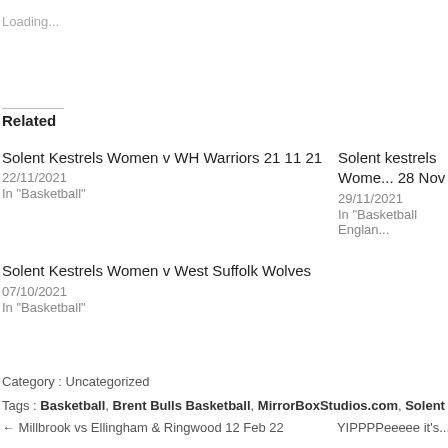Loading...
Related
Solent Kestrels Women v WH Warriors 21 11 21
22/11/2021
In "Basketball"
Solent kestrels Wome... 28 Nov
29/11/2021
In "Basketball Englan...
Solent Kestrels Women v West Suffolk Wolves
07/10/2021
In "Basketball"
Category : Uncategorized
Tags : Basketball, Brent Bulls Basketball, MirrorBoxStudios.com, Solent Kestrels Ba...
← Millbrook vs Ellingham & Ringwood 12 Feb 22
YIPPPPeeeee it's...